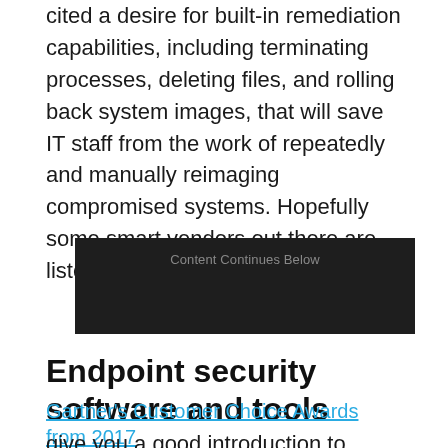cited a desire for built-in remediation capabilities, including terminating processes, deleting files, and rolling back system images, that will save IT staff from the work of repeatedly and manually reimaging compromised systems. Hopefully some smart vendors out there are listening.
[Figure (other): Dark advertisement placeholder box with text 'Content Continues Below']
Endpoint security software and tools
Gartner's Customer Choice Awards from 2017 give you a good introduction to who's who in the